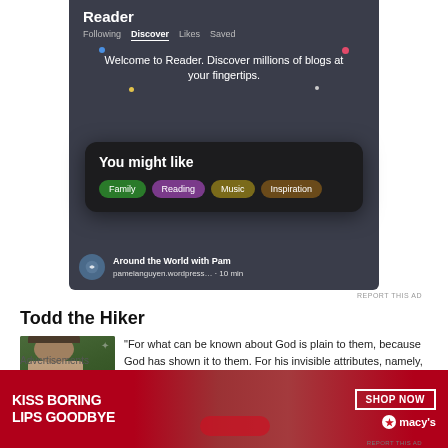[Figure (screenshot): WordPress Reader app screenshot showing 'Discover' tab with 'You might like' popup featuring category tags: Family, Reading, Music, Inspiration. Below shows 'Around the World with Pam' blog entry.]
REPORT THIS AD
Todd the Hiker
[Figure (photo): Author photo of a man in hiking gear with a hat, outdoors in a forested area.]
"For what can be known about God is plain to them, because God has shown it to them. For his invisible attributes, namely, his eternal power and divine nature, have been clearly perceived, ever since the creation...
Advertisements
[Figure (infographic): Macy's advertisement banner: 'KISS BORING LIPS GOODBYE' with a woman's face featuring red lips, 'SHOP NOW' button and Macy's star logo.]
REPORT THIS AD